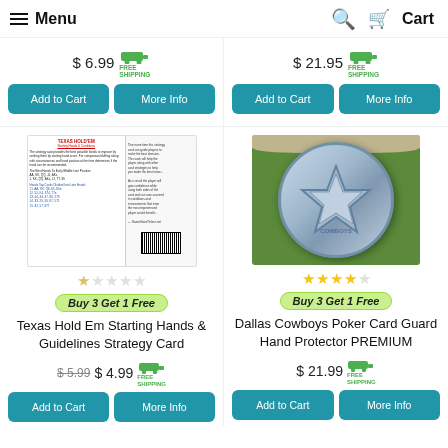Menu | Search | Cart
$ 6.99 FREE SHIPPING
$ 21.95 FREE SHIPPING
Add to Cart | More Info
Add to Cart | More Info
[Figure (photo): Texas Hold Em Starting Hands & Guidelines Strategy Card product image showing front and back of card]
[Figure (photo): Dallas Cowboys Poker Card Guard Hand Protector PREMIUM - silver coin with star logo held between fingers]
Buy 3 Get 1 Free
Buy 3 Get 1 Free
Texas Hold Em Starting Hands & Guidelines Strategy Card
Dallas Cowboys Poker Card Guard Hand Protector PREMIUM
$ 5.99 $ 4.99 FREE SHIPPING
$ 21.99 FREE SHIPPING
Add to Cart | More Info
Add to Cart | More Info